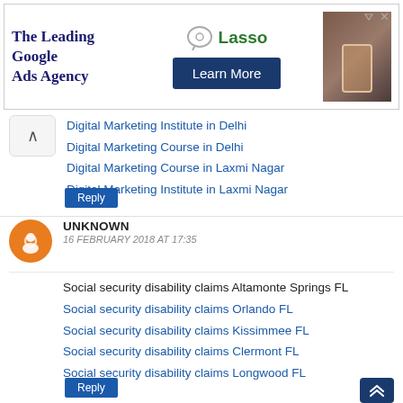[Figure (screenshot): Advertisement banner for 'The Leading Google Ads Agency' featuring Lasso brand with a 'Learn More' button and a product photo on the right.]
Digital Marketing Institute in Delhi
Digital Marketing Course in Delhi
Digital Marketing Course in Laxmi Nagar
Digital Marketing Institute in Laxmi Nagar
Reply
UNKNOWN
16 FEBRUARY 2018 AT 17:35
Social security disability claims Altamonte Springs FL
Social security disability claims Orlando FL
Social security disability claims Kissimmee FL
Social security disability claims Clermont FL
Social security disability claims Longwood FL
Reply
HI-TECH LAXMI NAGAR
16 FEBRUARY 2018 AT 18:21
this is very good directory submission sites mobile repairing